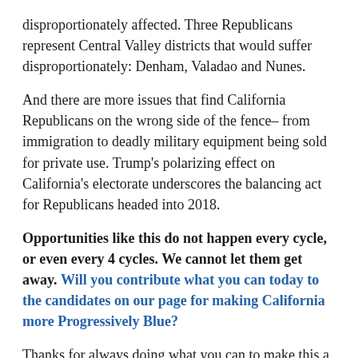disproportionately affected. Three Republicans represent Central Valley districts that would suffer disproportionately: Denham, Valadao and Nunes.
And there are more issues that find California Republicans on the wrong side of the fence– from immigration to deadly military equipment being sold for private use. Trump's polarizing effect on California's electorate underscores the balancing act for Republicans headed into 2018.
Opportunities like this do not happen every cycle, or even every 4 cycles. We cannot let them get away. Will you contribute what you can today to the candidates on our page for making California more Progressively Blue?
Thanks for always doing what you can to make this a better world,
–Howie, for the entire Blue America team